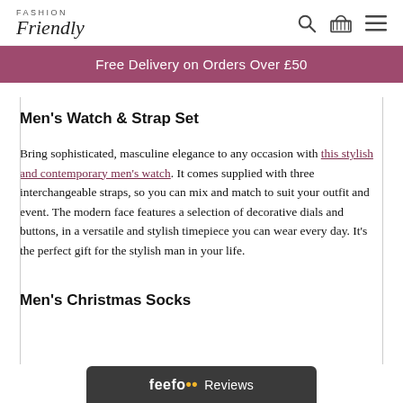Fashion Friendly
Free Delivery on Orders Over £50
Men's Watch & Strap Set
Bring sophisticated, masculine elegance to any occasion with this stylish and contemporary men's watch. It comes supplied with three interchangeable straps, so you can mix and match to suit your outfit and event. The modern face features a selection of decorative dials and buttons, in a versatile and stylish timepiece you can wear every day. It's the perfect gift for the stylish man in your life.
Men's Christmas Socks
feefo Reviews